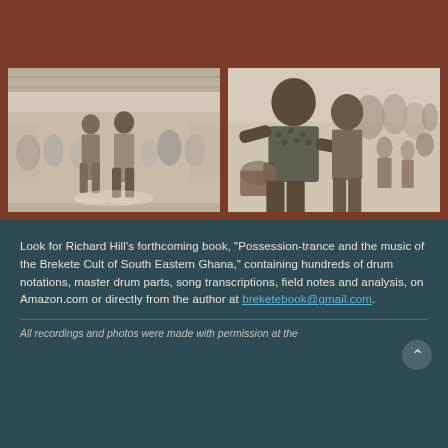[Figure (photo): Two black-and-white photos side by side on a brown/terracotta background. Left photo: people in traditional dress at what appears to be a gathering or ceremony in an indoor/covered market space. Right photo: a man in patterned clothing surrounded by a crowd, appearing to be playing or demonstrating something.]
Look for Richard Hill's forthcoming book, "Possession-trance and the music of the Brekete Cult of South Eastern Ghana," containing hundreds of drum notations, master drum parts, song transcriptions, field notes and analysis, on Amazon.com or directly from the author at breketebook@gmail.com.
All recordings and photos were made with permission at the